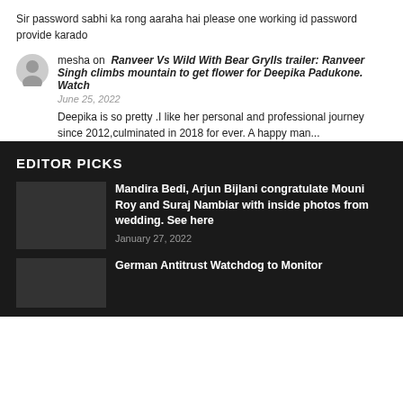Sir password sabhi ka rong aaraha hai please one working id password provide karado
mesha on Ranveer Vs Wild With Bear Grylls trailer: Ranveer Singh climbs mountain to get flower for Deepika Padukone. Watch
June 25, 2022
Deepika is so pretty .I like her personal and professional journey since 2012,culminated in 2018 for ever. A happy man...
EDITOR PICKS
Mandira Bedi, Arjun Bijlani congratulate Mouni Roy and Suraj Nambiar with inside photos from wedding. See here
January 27, 2022
German Antitrust Watchdog to Monitor